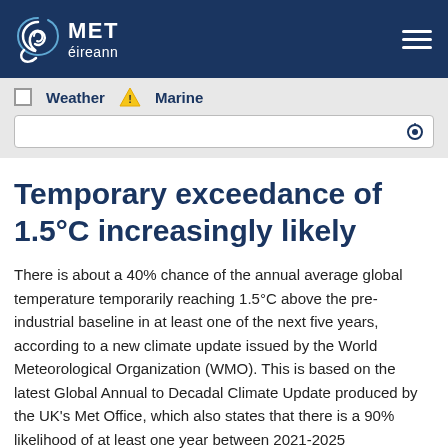MET éireann
Temporary exceedance of 1.5°C increasingly likely
There is about a 40% chance of the annual average global temperature temporarily reaching 1.5°C above the pre-industrial baseline in at least one of the next five years, according to a new climate update issued by the World Meteorological Organization (WMO). This is based on the latest Global Annual to Decadal Climate Update produced by the UK's Met Office, which also states that there is a 90% likelihood of at least one year between 2021-2025